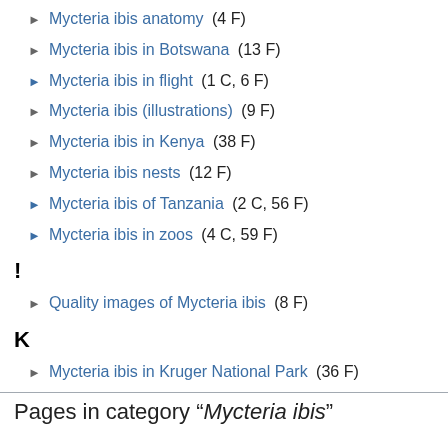Mycteria ibis anatomy (4 F)
Mycteria ibis in Botswana (13 F)
Mycteria ibis in flight (1 C, 6 F)
Mycteria ibis (illustrations) (9 F)
Mycteria ibis in Kenya (38 F)
Mycteria ibis nests (12 F)
Mycteria ibis of Tanzania (2 C, 56 F)
Mycteria ibis in zoos (4 C, 59 F)
!
Quality images of Mycteria ibis (8 F)
K
Mycteria ibis in Kruger National Park (36 F)
Pages in category "Mycteria ibis"